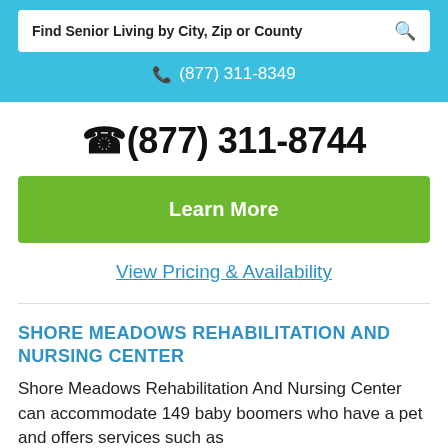Find Senior Living by City, Zip or County
(877) 311-8349
(877) 311-8744
Learn More
View Pricing & Availability
SHORE MEADOWS REHABILITATION AND NURSING CENTER
Shore Meadows Rehabilitation And Nursing Center can accommodate 149 baby boomers who have a pet and offers services such as